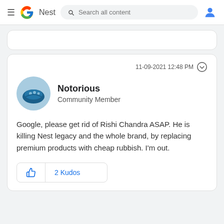Google Nest — Search all content
11-09-2021 12:48 PM
Notorious
Community Member
Google, please get rid of Rishi Chandra ASAP. He is killing Nest legacy and the whole brand, by replacing premium products with cheap rubbish. I'm out.
2 Kudos